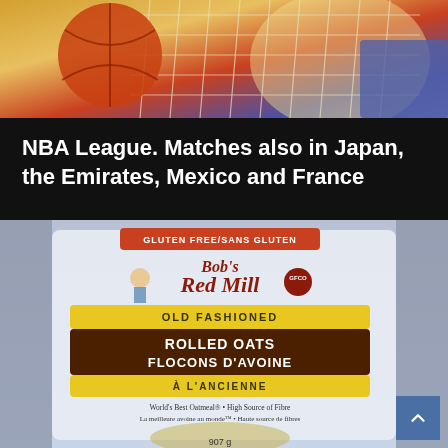[Figure (photo): Basketball going through a net, close-up photo with orange basketball and white net visible, blurred background]
NBA League. Matches also in Japan, the Emirates, Mexico and France
[Figure (photo): Bob's Red Mill Old Fashioned Rolled Oats / Flocons D'Avoine bag, 907g, Gluten Free, with text: World's Best Oatmeal, High Source of Fibre, La meilleure avoine au monde, Haute source de fibres]